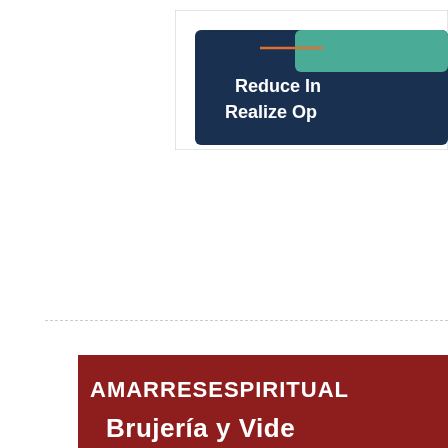[Figure (screenshot): Partial view of a web banner with dark navy background, teal accent shape, orange line, and white bold text reading 'Reduce In...' and 'Realize Op...' (text cut off on right)]
[Figure (screenshot): Partial view of a dark red/maroon banner with bold white text reading 'AMARRESESPIRITUAL...' and 'Brujería y Vide...' (text cut off on right)]